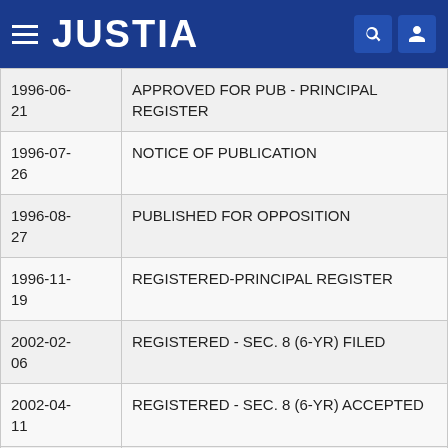JUSTIA
| Date | Description |
| --- | --- |
| 1996-06-21 | APPROVED FOR PUB - PRINCIPAL REGISTER |
| 1996-07-26 | NOTICE OF PUBLICATION |
| 1996-08-27 | PUBLISHED FOR OPPOSITION |
| 1996-11-19 | REGISTERED-PRINCIPAL REGISTER |
| 2002-02-06 | REGISTERED - SEC. 8 (6-YR) FILED |
| 2002-04-11 | REGISTERED - SEC. 8 (6-YR) ACCEPTED |
| 2006-09-15 | CASE FILE IN TICRS |